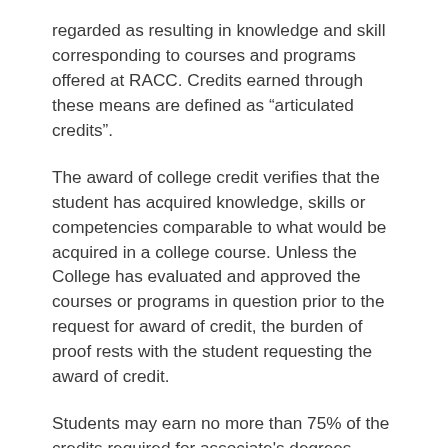regarded as resulting in knowledge and skill corresponding to courses and programs offered at RACC. Credits earned through these means are defined as “articulated credits”.
The award of college credit verifies that the student has acquired knowledge, skills or competencies comparable to what would be acquired in a college course. Unless the College has evaluated and approved the courses or programs in question prior to the request for award of credit, the burden of proof rests with the student requesting the award of credit.
Students may earn no more than 75% of the credits required for associate's degrees through articulated credit; a minimum of 25% of the degree